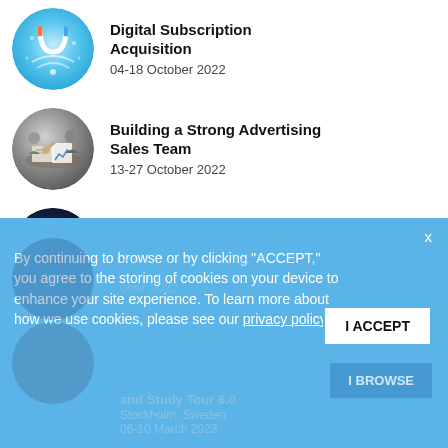[Figure (illustration): Circular icon with light blue background featuring digital/tech magnet graphic]
Digital Subscription Acquisition
04-18 October 2022
[Figure (photo): Circular photo of business people at a meeting table with charts/papers]
Building a Strong Advertising Sales Team
13-27 October 2022
[Figure (illustration): Circular dark background with network graph/constellation graphic]
Product and Data Summit 2.0
01-15 November 2022
By continuing to browse or by clicking “ACCEPT,” you agree to the storing of cookies on your device to enhance your site experience. To learn more about how we use cookies, please see our privacy policy.
I ACCEPT